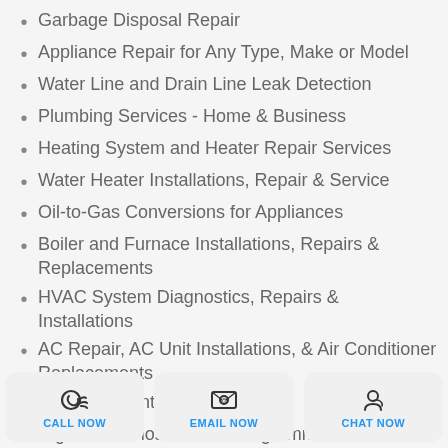Garbage Disposal Repair
Appliance Repair for Any Type, Make or Model
Water Line and Drain Line Leak Detection
Plumbing Services  - Home & Business
Heating System and Heater Repair Services
Water Heater Installations, Repair & Service
Oil-to-Gas Conversions for Appliances
Boiler and Furnace Installations, Repairs & Replacements
HVAC System Diagnostics, Repairs & Installations
AC Repair, AC Unit Installations, & Air Conditioner Replacements
Ongoing Maintenance Services
Digital Thermostats and Programmable Thermostats
Cleanin... and Inspe...
rain Cl...
CALL NOW   EMAIL NOW   CHAT NOW